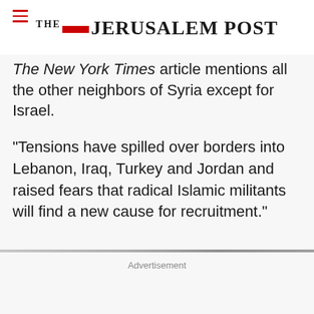THE JERUSALEM POST
The New York Times article mentions all the other neighbors of Syria except for Israel.
“Tensions have spilled over borders into Lebanon, Iraq, Turkey and Jordan and raised fears that radical Islamic militants will find a new cause for recruitment.”
Advertisement